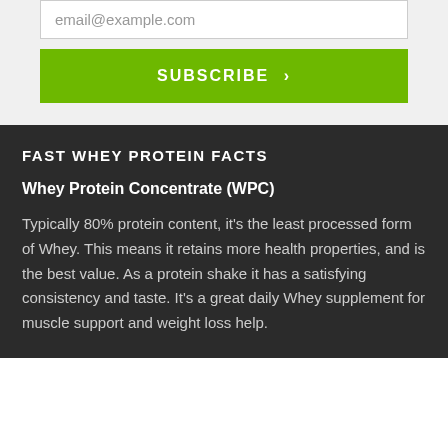email@example.com
SUBSCRIBE >
FAST WHEY PROTEIN FACTS
Whey Protein Concentrate (WPC)
Typically 80% protein content, it's the least processed form of Whey. This means it retains more health properties, and is the best value. As a protein shake it has a satisfying consistency and taste. It's a great daily Whey supplement for muscle support and weight loss help.